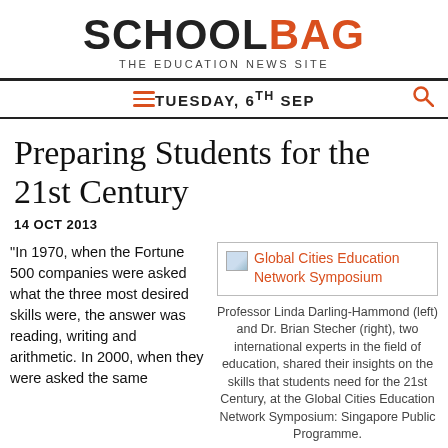SCHOOLBAG THE EDUCATION NEWS SITE
TUESDAY, 6TH SEP
Preparing Students for the 21st Century
14 OCT 2013
"In 1970, when the Fortune 500 companies were asked what the three most desired skills were, the answer was reading, writing and arithmetic. In 2000, when they were asked the same
[Figure (photo): Global Cities Education Network Symposium image placeholder with link text]
Professor Linda Darling-Hammond (left) and Dr. Brian Stecher (right), two international experts in the field of education, shared their insights on the skills that students need for the 21st Century, at the Global Cities Education Network Symposium: Singapore Public Programme.